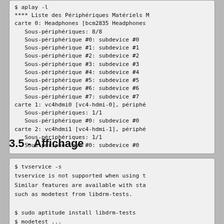$ aplay -l
**** Liste des Périphériques Matériels ...
carte 0: Headphones [bcm2835 Headphones...
   Sous-périphériques: 8/8
   Sous-périphérique #0: subdevice #0
   Sous-périphérique #1: subdevice #1
   Sous-périphérique #2: subdevice #2
   Sous-périphérique #3: subdevice #3
   Sous-périphérique #4: subdevice #4
   Sous-périphérique #5: subdevice #5
   Sous-périphérique #6: subdevice #6
   Sous-périphérique #7: subdevice #7
carte 1: vc4hdmi0 [vc4-hdmi-0], périphé...
   Sous-périphériques: 1/1
   Sous-périphérique #0: subdevice #0
carte 2: vc4hdmi1 [vc4-hdmi-1], périphé...
   Sous-périphériques: 1/1
   Sous-périphérique #0: subdevice #0
3.5 - Affichage
$ tvservice -s
tvservice is not supported when using t...
Similar features are available with sta...
such as modetest from libdrm-tests.

$ sudo aptitude install libdrm-tests
$ modetest ...